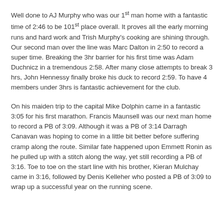Well done to AJ Murphy who was our 1st man home with a fantastic time of 2:46 to be 101st place overall. It proves all the early morning runs and hard work and Trish Murphy's cooking are shining through. Our second man over the line was Marc Dalton in 2:50 to record a super time. Breaking the 3hr barrier for his first time was Adam Duchnicz in a tremendous 2:58. After many close attempts to break 3 hrs, John Hennessy finally broke his duck to record 2:59. To have 4 members under 3hrs is fantastic achievement for the club.
On his maiden trip to the capital Mike Dolphin came in a fantastic 3:05 for his first marathon. Francis Maunsell was our next man home to record a PB of 3:09. Although it was a PB of 3:14 Darragh Canavan was hoping to come in a little bit better before suffering cramp along the route. Similar fate happened upon Emmett Ronin as he pulled up with a stitch along the way, yet still recording a PB of 3:16. Toe to toe on the start line with his brother, Kieran Mulchay came in 3:16, followed by Denis Kelleher who posted a PB of 3:09 to wrap up a successful year on the running scene.